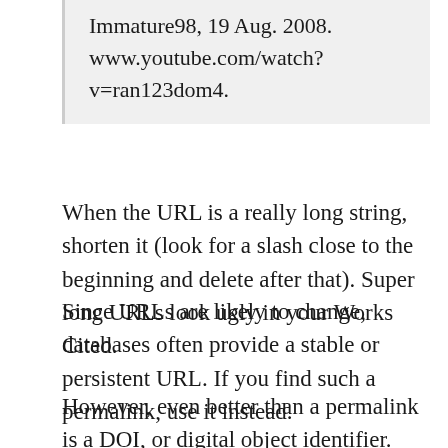Immature98, 19 Aug. 2008. www.youtube.com/watch?v=ran123dom4.
When the URL is a really long string, shorten it (look for a slash close to the beginning and delete after that). Super long URLs look ugly in your Works Cited.
Since URLs are likely to change, databases often provide a stable or persistent URL. If you find such a permalink, use it instead.
However, even better than a permalink is a DOI, or digital object identifier. Here you